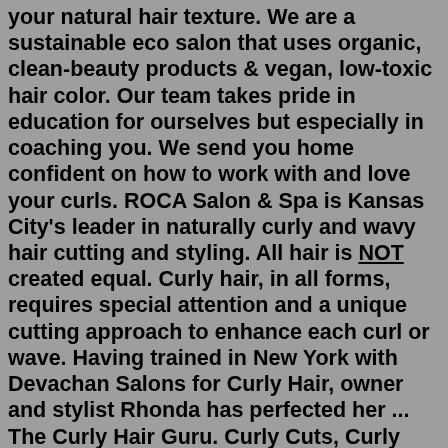your natural hair texture. We are a sustainable eco salon that uses organic, clean-beauty products & vegan, low-toxic hair color. Our team takes pride in education for ourselves but especially in coaching you. We send you home confident on how to work with and love your curls. ROCA Salon & Spa is Kansas City's leader in naturally curly and wavy hair cutting and styling. All hair is NOT created equal. Curly hair, in all forms, requires special attention and a unique cutting approach to enhance each curl or wave. Having trained in New York with Devachan Salons for Curly Hair, owner and stylist Rhonda has perfected her ... The Curly Hair Guru. Curly Cuts, Curly Color and more. #1 Curly Hair Salon in the Akron, Fairlawn area. Since 2009, our Southern Curl specialists have acquired several prestigious curly hair certifications, as well as ongoing training in the signature Southern Curl cutting style. In addition, we are committed to servicing our clients with the best in clean green beauty. Our environmentally friendly product list includes; Innersense Organics ... Jul 30,